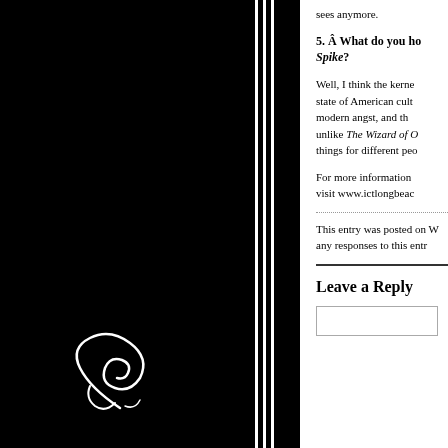[Figure (illustration): Black decorative sidebar with white swirl/flourish illustration at bottom left, with vertical white decorative lines separating it from the content area]
sees anymore.
5. Â What do you ho... Spike?
Well, I think the kerne... state of American cult... modern angst, and tha... unlike The Wizard of O... things for different peo...
For more information ... visit www.ictlongbeac...
This entry was posted on W... any responses to this entr...
Leave a Reply